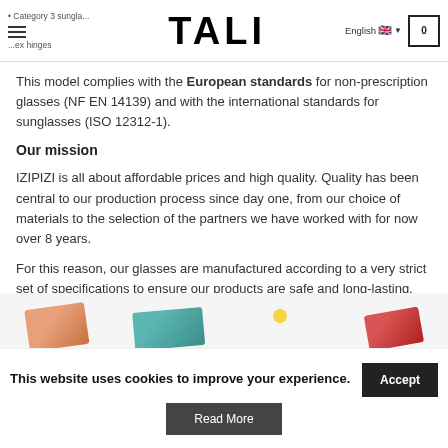TALI — Category 3 sunglasses, flex hinges | English | 0
This model complies with the European standards for non-prescription glasses (NF EN 14139) and with the international standards for sunglasses (ISO 12312-1).
Our mission
IZIPIZI is all about affordable prices and high quality. Quality has been central to our production process since day one, from our choice of materials to the selection of the partners we have worked with for now over 8 years.
For this reason, our glasses are manufactured according to a very strict set of specifications to ensure our products are safe and long-lasting.
[Figure (photo): Partial image strip showing colorful sunglasses/product images: orange, teal, yellow dot, and red-pink colored glasses partially visible at bottom of page]
This website uses cookies to improve your experience. Accept | Read More